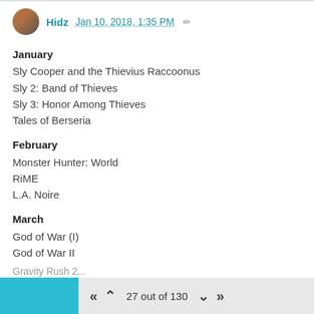Hidz Jan 10, 2018, 1:35 PM
January
Sly Cooper and the Thievius Raccoonus
Sly 2: Band of Thieves
Sly 3: Honor Among Thieves
Tales of Berseria
February
Monster Hunter: World
RiME
L.A. Noire
March
God of War (I)
God of War II
God of War III
Ni No Kuni 2
April
Gravity Rush Remastered
27 out of 130